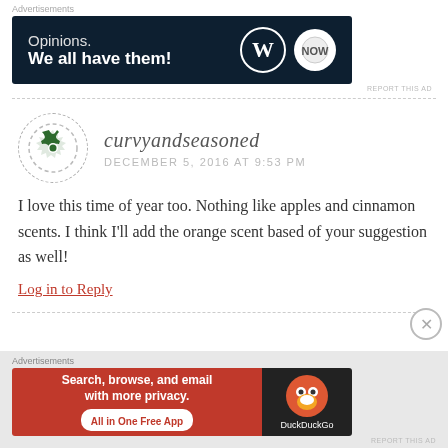[Figure (screenshot): Top advertisement banner: dark navy background with text 'Opinions. We all have them!' and WordPress/WP Beginner logos on right side.]
curvyandseasoned
DECEMBER 5, 2016 AT 9:53 PM
I love this time of year too. Nothing like apples and cinnamon scents. I think I'll add the orange scent based of your suggestion as well!
Log in to Reply
[Figure (screenshot): Bottom advertisement banner: DuckDuckGo ad with orange/red left panel 'Search, browse, and email with more privacy. All in One Free App' and dark right panel with DuckDuckGo duck logo.]